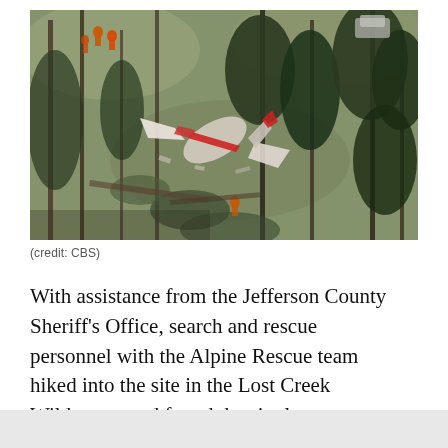[Figure (photo): Aerial photograph of a plane crash site in a forested, wooded hillside area. Wreckage of a small red and white aircraft is visible among the trees. Emergency responders in orange/red gear are visible near the top of the image.]
(credit: CBS)
With assistance from the Jefferson County Sheriff's Office, search and rescue personnel with the Alpine Rescue team hiked into the site in the Lost Creek Wilderness and found the single occupant of the plane dead.